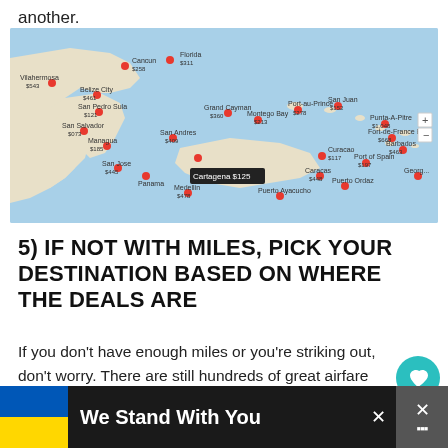another.
[Figure (map): Interactive map showing Caribbean and Central/South America destinations with red pin markers and price labels including Grand Cayman $360, Montego Bay $213, Port-au-Prince $278, San Juan $152, Punta-A-Pitre $1,048, Fort-de-France Bay $668, Barbados $463, Curacao $117, Port of Spain $197, Cartagena $125 (tooltip), Caracas $448, Puerto Ordaz, Medellin $478, Puerto Ayacucho, Managua $185, Panama, San Jose $445, San Salvador $075, San Pedro Sula $121, Belize City $461, Vilahermosa $543, Merida $311, Cancun $258, Florida $311, Georgetown, Dabaure]
5) IF NOT WITH MILES, PICK YOUR DESTINATION BASED ON WHERE THE DEALS ARE
If you don't have enough miles or you're striking out, don't worry. There are still hundreds of great airfare deals every week if you keep your option open. Check sites like Airfare Watchdog or follow